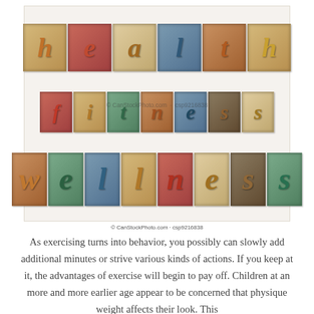[Figure (photo): Letterpress wooden block typography spelling 'health', 'fitness', 'wellness' in three rows of colorful blocks on white background. Watermark: © CanStockPhoto.com · csp9216838]
© CanStockPhoto.com · csp9216838
As exercising turns into behavior, you possibly can slowly add additional minutes or strive various kinds of actions. If you keep at it, the advantages of exercise will begin to pay off. Children at an more and more earlier age appear to be concerned that physique weight affects their look. This